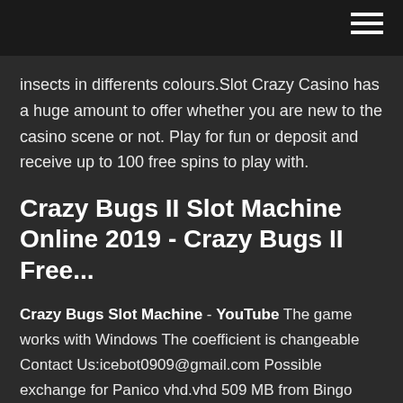hamburger menu icon
insects in differents colours.Slot Crazy Casino has a huge amount to offer whether you are new to the casino scene or not. Play for fun or deposit and receive up to 100 free spins to play with.
Crazy Bugs II Slot Machine Online 2019 - Crazy Bugs II Free...
Crazy Bugs Slot Machine - YouTube The game works with Windows The coefficient is changeable Contact Us:icebot0909@gmail.com Possible exchange for Panico vhd.vhd 509 MB from Bingo Brazil lista... Free Crazy Bugs 2 Slot | A EGT Casino Game | CasinoGamesOnNet ... Free